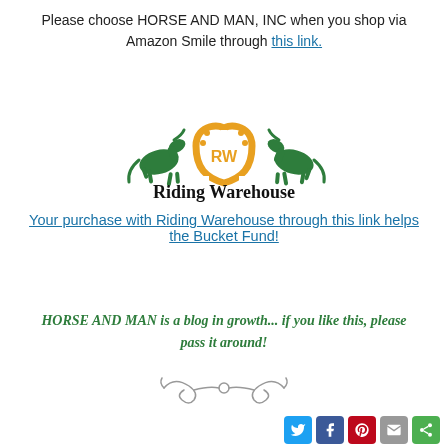Please choose HORSE AND MAN, INC when you shop via Amazon Smile through this link.
[Figure (logo): Riding Warehouse logo with two green horses flanking a golden horseshoe with RW initials, and 'Riding Warehouse' text in bold serif]
Your purchase with Riding Warehouse through this link helps the Bucket Fund!
HORSE AND MAN is a blog in growth... if you like this, please pass it around!
[Figure (illustration): Decorative flourish/divider ornament]